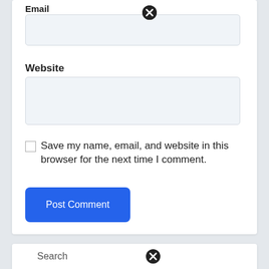Email
[Figure (screenshot): Email input field with a close/clear icon (X) at the top]
Website
[Figure (screenshot): Website input field]
Save my name, email, and website in this browser for the next time I comment.
[Figure (screenshot): Blue Post Comment button]
Search
[Figure (screenshot): Search section with close/clear icon (X)]